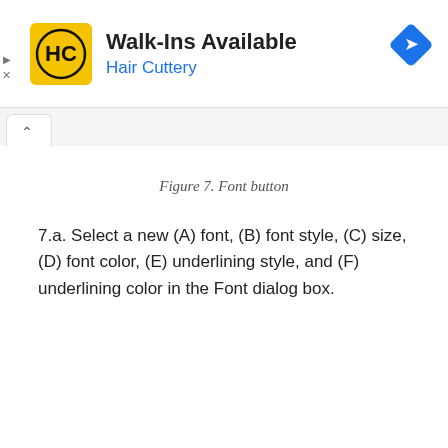[Figure (screenshot): Advertisement banner for Hair Cuttery showing the HC logo, 'Walk-Ins Available' title, 'Hair Cuttery' subtitle in blue, and a blue navigation arrow icon on the right.]
Figure 7. Font button
7.a. Select a new (A) font, (B) font style, (C) size, (D) font color, (E) underlining style, and (F) underlining color in the Font dialog box.